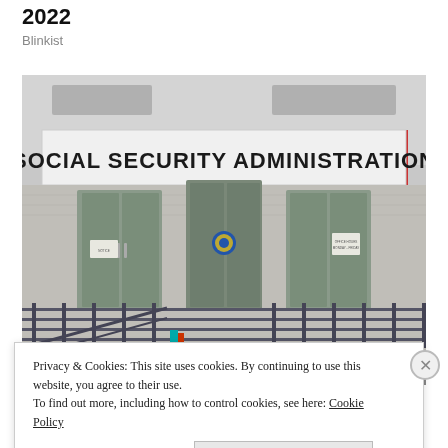2022
Blinkist
[Figure (photo): Photograph of a Social Security Administration office building entrance, showing the large sign reading 'SOCIAL SECURITY ADMINISTRATION' above glass doors with metal railings and a ramp in front.]
Privacy & Cookies: This site uses cookies. By continuing to use this website, you agree to their use.
To find out more, including how to control cookies, see here: Cookie Policy
Close and accept